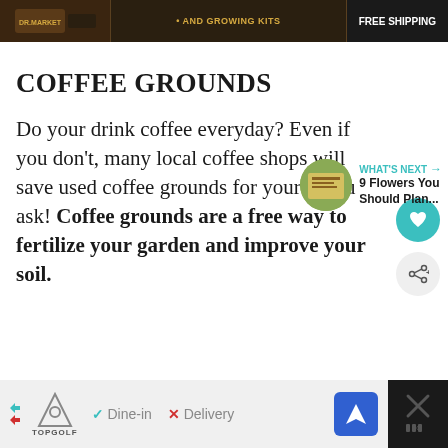[Figure (other): Advertisement banner at top: dark brown/black background with gardening product ad showing 'AND GROWING KITS' and 'FREE SHIPPING' text]
COFFEE GROUNDS
Do your drink coffee everyday? Even if you don't, many local coffee shops will save used coffee grounds for your if you ask! Coffee grounds are a free way to fertilize your garden and improve your soil.
[Figure (other): WHAT'S NEXT arrow label with thumbnail and text '9 Flowers You Should Plan...']
[Figure (other): Advertisement banner at bottom: dark background with Topgolf ad showing Dine-in and Delivery options]